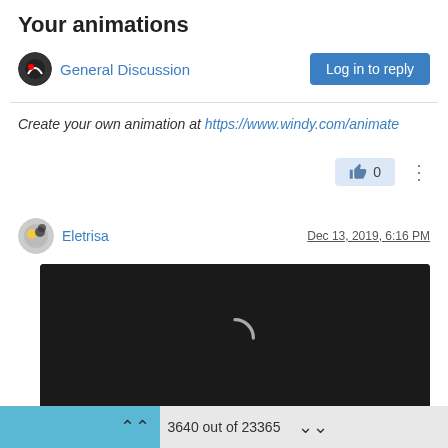Your animations
General Discussion
Log in to reply
Create your own animation at https://www.windy.com/animate
0
Eletrisa
Dec 13, 2019, 6:16 PM
[Figure (screenshot): Embedded video player with dark background, loading spinner, playback controls showing 0:00, progress bar, mute, fullscreen and more options buttons.]
3640 out of 23365